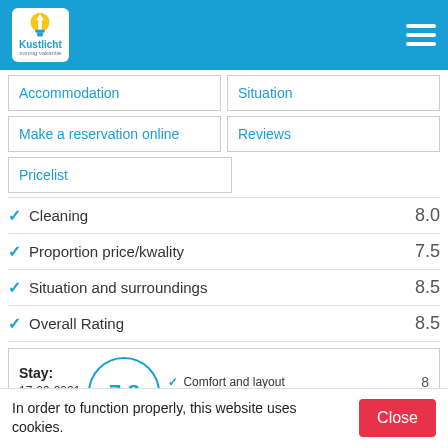Kustlicht
Accommodation
Situation
Make a reservation online
Reviews
Pricelist
Cleaning  8.0
Proportion price/kwality  7.5
Situation and surroundings  8.5
Overall Rating  8.5
| Stay | Score | Category | Rating |
| --- | --- | --- | --- |
| 17-09-2021 – 24-09-2021 | 7.8 | Comfort and layout | 8 |
|  |  | Cleaning | 6 |
In order to function properly, this website uses cookies.